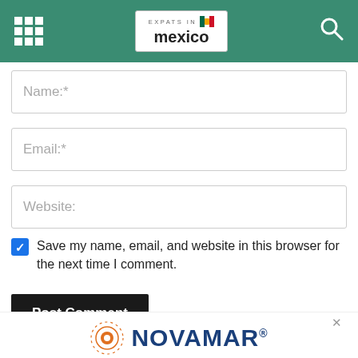Expats in Mexico
Name:*
Email:*
Website:
Save my name, email, and website in this browser for the next time I comment.
Post Comment
[Figure (logo): Novamar Insurance Mexico logo with sun icon and tagline: Find all your expat insurance]